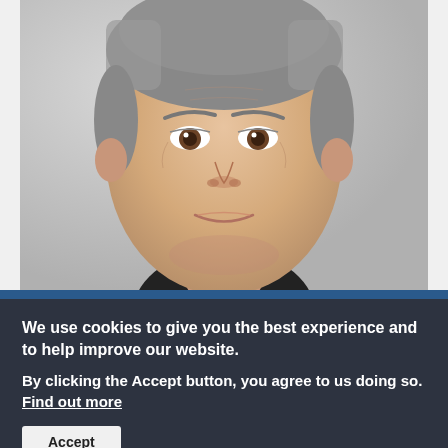[Figure (photo): Close-up headshot of a middle-aged man with short gray-brown hair, brown eyes, and a slight smile, wearing a dark shirt. Light gray background.]
We use cookies to give you the best experience and to help improve our website. By clicking the Accept button, you agree to us doing so. Find out more